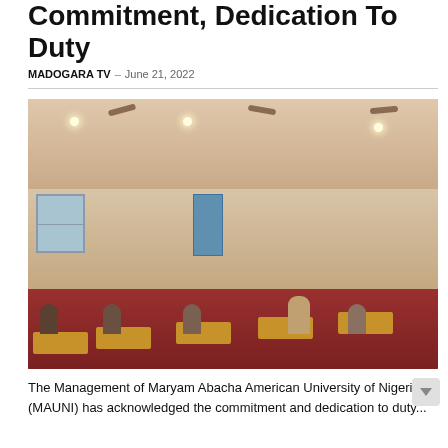Commitment, Dedication To Duty
MADOGARA TV – June 21, 2022
[Figure (photo): A classroom scene at Maryam Abacha American University of Nigeria, showing rows of students seated at wooden desks in a lecture hall with ceiling fans, recessed lighting, and a speaker standing at the front.]
The Management of Maryam Abacha American University of Nigeria (MAUNI) has acknowledged the commitment and dedication to duty...